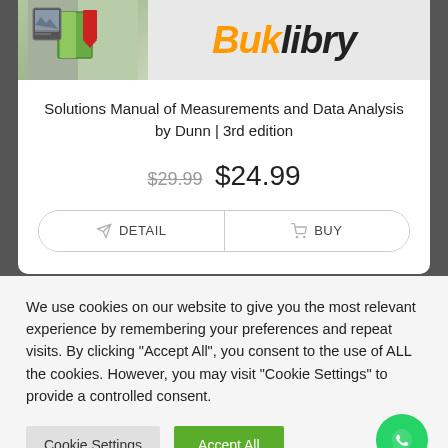[Figure (logo): Buklibry banner with book illustration logo on left and orange/black 'Buklibry' italic text on right]
Solutions Manual of Measurements and Data Analysis by Dunn | 3rd edition
$29.99 $24.99
DETAIL   BUY
We use cookies on our website to give you the most relevant experience by remembering your preferences and repeat visits. By clicking “Accept All”, you consent to the use of ALL the cookies. However, you may visit "Cookie Settings" to provide a controlled consent.
Cookie Settings   Accept All